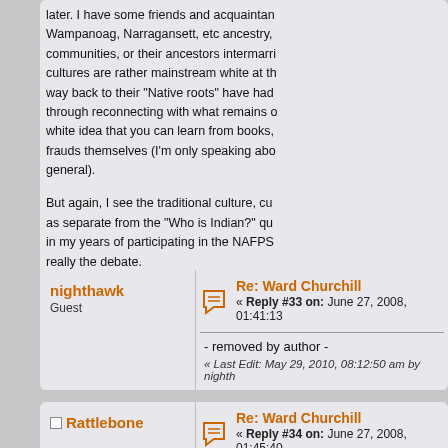later. I have some friends and acquaintances with Wampanoag, Narragansett, etc ancestry, communities, or their ancestors intermarried, whose cultures are rather mainstream white at this point, who way back to their "Native roots" have had to do so through reconnecting with what remains of them in a white idea that you can learn from books, frauds themselves (I'm only speaking about general).
But again, I see the traditional culture, culture, as separate from the "Who is Indian?" question in my years of participating in the NAFPS really the debate.
« Last Edit: February 13, 2014, 04:14:14 am by k
nighthawk
Guest
Re: Ward Churchill
« Reply #33 on: June 27, 2008, 01:41:13
- removed by author -
« Last Edit: May 29, 2010, 08:12:50 am by nighth
Rattlebone
Re: Ward Churchill
« Reply #34 on: June 27, 2008, 01:45:40